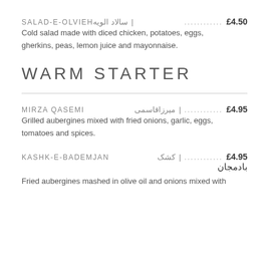SALAD-E-OLVIEH | سالاد الویه ............£4.50
Cold salad made with diced chicken, potatoes, eggs, gherkins, peas, lemon juice and mayonnaise.
WARM STARTER
MIRZA QASEMI | میرزاقاسمی ............£4.95
Grilled aubergines mixed with fried onions, garlic, eggs, tomatoes and spices.
KASHK-E-BADEMJAN | کشک............£4.95
بادمجان
Fried aubergines mashed in olive oil and onions mixed with